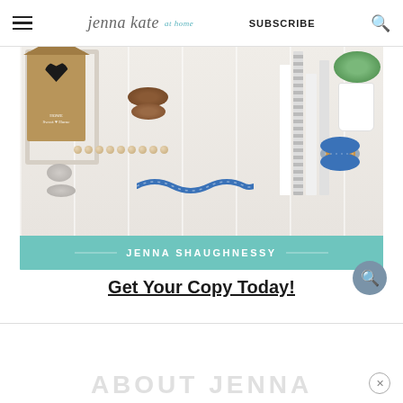jenna kate at home — SUBSCRIBE
[Figure (photo): Home decor flat lay photo featuring a wooden birdhouse with heart cutout labeled 'HOME Sweet Home', wooden beads, a blue ribbon on a wooden spool, wooden bowls, books, a succulent plant, and river rocks on a white surface. Below the photo is a teal banner with the text 'JENNA SHAUGHNESSY'.]
Get Your Copy Today!
ABOUT JENNA